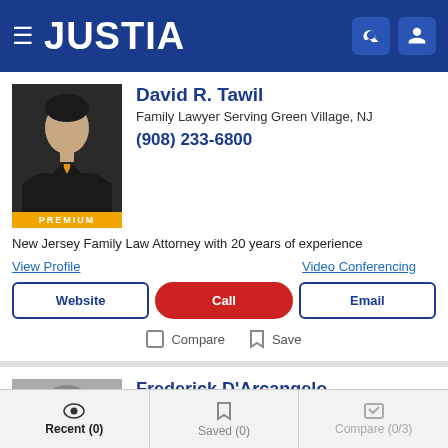JUSTIA
David R. Tawil
Family Lawyer Serving Green Village, NJ
(908) 233-6800
[Figure (photo): Professional headshot of David R. Tawil with PREMIUM badge]
New Jersey Family Law Attorney with 20 years of experience
View Profile
Video Conferencing
Website | Call | Email
Compare  Save
Frederick D'Arcangelo
Family Lawyer Serving Green Village, NJ
Recent (0)   Saved (0)   Compare (0/3)